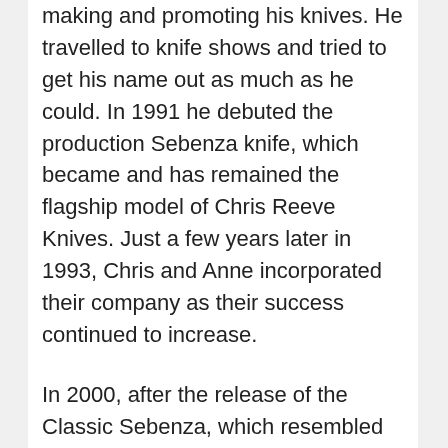making and promoting his knives. He travelled to knife shows and tried to get his name out as much as he could. In 1991 he debuted the production Sebenza knife, which became and has remained the flagship model of Chris Reeve Knives. Just a few years later in 1993, Chris and Anne incorporated their company as their success continued to increase.
In 2000, after the release of the Classic Sebenza, which resembled the original 1991 profile of the knife, Chris exhibited his knives as a production knife company and was allowed to be judged accordingly. That year they took home the Manufacturing Quality